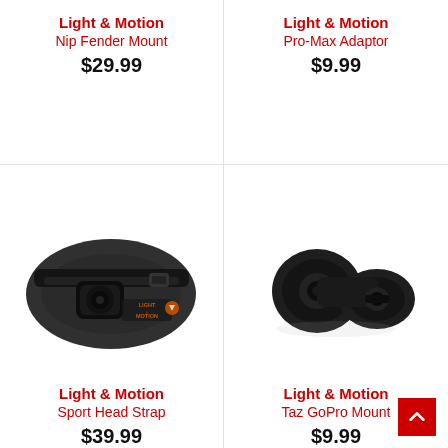Light & Motion
Nip Fender Mount
$29.99
[Figure (photo): No image shown for Nip Fender Mount (top-left)]
Light & Motion
Pro-Max Adaptor
$9.99
[Figure (photo): No image shown for Pro-Max Adaptor (top-right)]
[Figure (photo): Photo of Light & Motion Sport Head Strap — black head strap with mounting mechanism]
Light & Motion
Sport Head Strap
$39.99
[Figure (photo): Photo of Light & Motion Taz GoPro Mount — black plastic mounting adapter]
Light & Motion
Taz GoPro Mount
$9.99